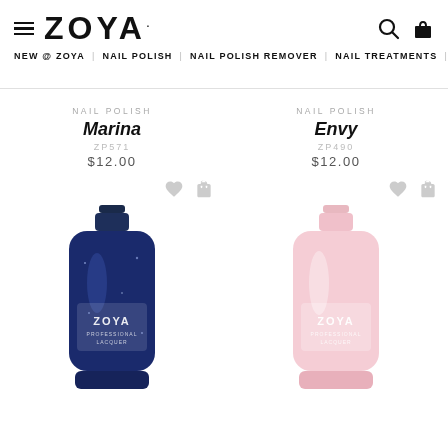ZOYA
NEW @ ZOYA | NAIL POLISH | NAIL POLISH REMOVER | NAIL TREATMENTS | COSMETICS
NAIL POLISH
Marina
ZP571
$12.00
NAIL POLISH
Envy
ZP490
$12.00
[Figure (photo): Zoya nail polish bottle in dark navy blue glitter color labeled Marina ZP571]
[Figure (photo): Zoya nail polish bottle in light pink color labeled Envy ZP490]